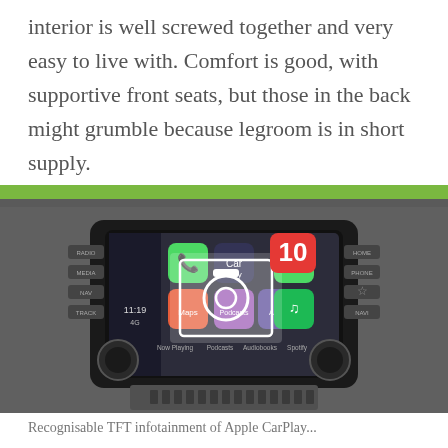interior is well screwed together and very easy to live with. Comfort is good, with supportive front seats, but those in the back might grumble because legroom is in short supply.
[Figure (photo): Car infotainment screen showing Apple CarPlay interface with a screenshot notification badge showing '10'. Screen displays apps including Phone, CarPlay, Maps, Messages, Now Playing, Podcasts, Audiobooks, and Spotify. Time shows 11:19. The screen is mounted in a Hyundai dashboard with physical buttons on both sides and two rotary knobs. Dashboard trim is gray with a green accent strip visible at the top.]
Recognisable TFT infotainment of Apple CarPlay...